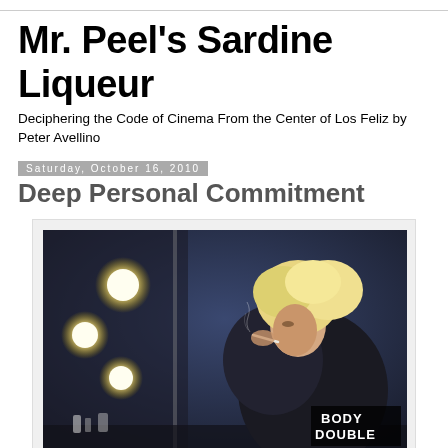Mr. Peel's Sardine Liqueur
Deciphering the Code of Cinema From the Center of Los Feliz by Peter Avellino
Saturday, October 16, 2010
Deep Personal Commitment
[Figure (photo): A blonde woman smoking a cigarette in front of a vanity mirror with bright round bulb lights, with 'BODY DOUBLE' text in the bottom right corner. Movie still or promotional image.]